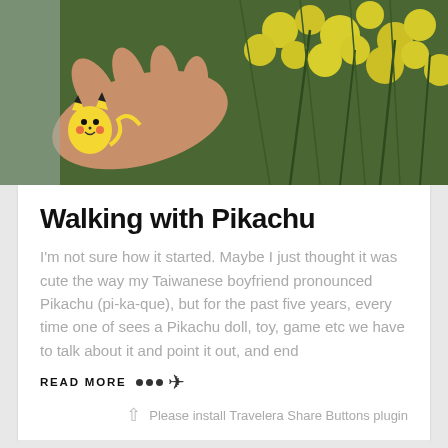[Figure (photo): A hand wearing a Pikachu wristband/toy among yellow wattle flowers and green foliage]
Walking with Pikachu
I'm not sure how it started. Maybe I just thought it was cute the way my Taiwanese boyfriend pronounced Pikachu (pi-ka-que), but for the past five years, every time one of sees a Pikachu doll, toy, game etc we have to talk about it and point it out, and end
READ MORE •••➤
Please install Travelera Share Buttons plugin
[Figure (photo): Dark nighttime scene with colorful lights, partial view of objects at bottom of page]